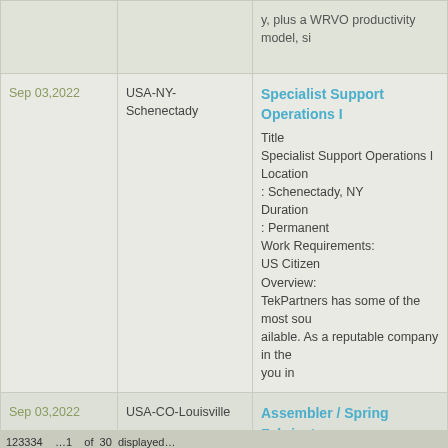| Date | Location | Job |
| --- | --- | --- |
|  |  | y, plus a WRVO productivity model, si... |
| Sep 03,2022 | USA-NY-Schenectady | Specialist Support Operations I
Title
Specialist Support Operations I
Location
: Schenectady, NY
Duration
: Permanent
Work Requirements:
US Citizen
Overview:
TekPartners has some of the most sou... ailable. As a reputable company in the ... you in |
| Sep 03,2022 | USA-CO-Louisville | Assembler / Spring Fabricator -
Spring FabricatorEssential Duties: Cuts... eal production. Welds Cantilever, triple... ot weld with a direct current welder. Lo... o seal jackets usingvarious tools ensur... |
123334    ...1 of 30 displayed...